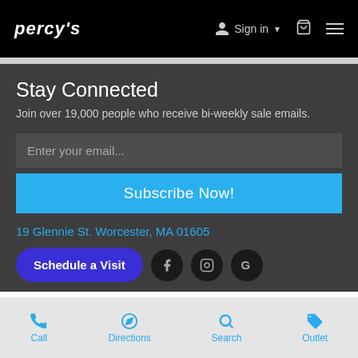PERCY'S   Sign in   [cart]   [menu]
Stay Connected
Join over 19,000 people who receive bi-weekly sale emails.
Enter your email...
Subscribe Now!
19 Glennie St. Worcester, MA 01605
Schedule a Visit
Call   Directions   Search   Outlet